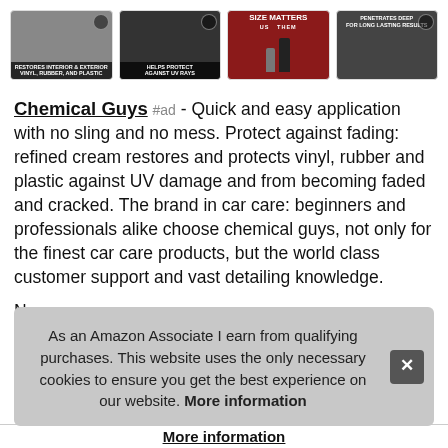[Figure (photo): Four product thumbnail images in a row: (1) hand applying product to car interior with text 'RESTORES INTERIOR & EXTERIOR VINYL, RUBBER, AND PLASTIC', (2) dark image of product bottle with text 'HELPS PROTECT AGAINST UV RAYS', (3) red background size comparison image with text 'SIZE MATTERS US vs THEM', (4) hand holding product next to steering wheel with text 'PENETRATES DEEP FOR LONG LASTING RESULTS']
Chemical Guys #ad - Quick and easy application with no sling and no mess. Protect against fading: refined cream restores and protects vinyl, rubber and plastic against UV damage and from becoming faded and cracked. The brand in car care: beginners and professionals alike choose chemical guys, not only for the finest car care products, but the world class customer support and vast detailing knowledge.
Nor last plas
As an Amazon Associate I earn from qualifying purchases. This website uses the only necessary cookies to ensure you get the best experience on our website. More information
More information